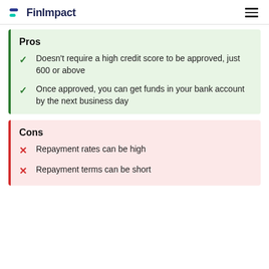FinImpact
Pros
Doesn't require a high credit score to be approved, just 600 or above
Once approved, you can get funds in your bank account by the next business day
Cons
Repayment rates can be high
Repayment terms can be short